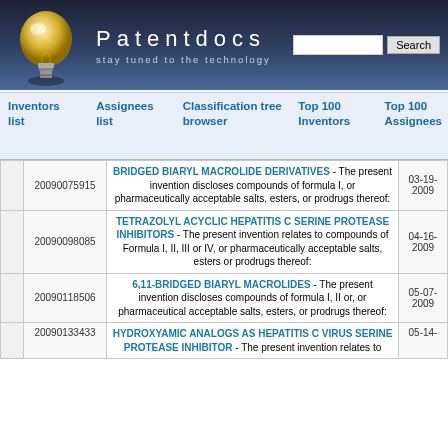Patentdocs - stay tuned to the technology
| Inventors list | Assignees list | Classification tree browser | Top 100 Inventors | Top 100 Assignees |
| --- | --- | --- | --- | --- |
|  | Patent Number | Title / Description | Date |
| --- | --- | --- | --- |
|  | 20090075915 | BRIDGED BIARYL MACROLIDE DERIVATIVES - The present invention discloses compounds of formula I, or pharmaceutically acceptable salts, esters, or prodrugs thereof: | 03-19-2009 |
|  | 20090098085 | TETRAZOLYL ACYCLIC HEPATITIS C SERINE PROTEASE INHIBITORS - The present invention relates to compounds of Formula I, II, III or IV, or pharmaceutically acceptable salts, esters or prodrugs thereof: | 04-16-2009 |
|  | 20090118506 | 6,11-BRIDGED BIARYL MACROLIDES - The present invention discloses compounds of formula I, II or, or pharmaceutical acceptable salts, esters, or prodrugs thereof: | 05-07-2009 |
|  | 20090133433 | HYDROXYAMIC ANALOGS AS HEPATITIS C VIRUS SERINE PROTEASE INHIBITOR - The present invention relates to... | 05-14-... |